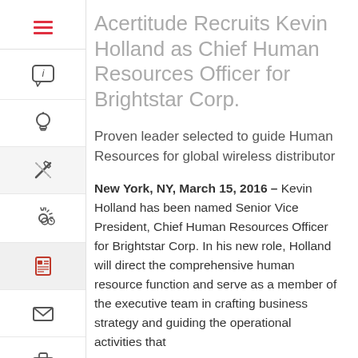[Figure (infographic): Vertical sidebar navigation with icons: hamburger menu (red), info/chat bubble, lightbulb, edit/pen-cross, settings gear, newspaper/document, envelope, briefcase]
Acertitude Recruits Kevin Holland as Chief Human Resources Officer for Brightstar Corp.
Proven leader selected to guide Human Resources for global wireless distributor
New York, NY, March 15, 2016 – Kevin Holland has been named Senior Vice President, Chief Human Resources Officer for Brightstar Corp. In his new role, Holland will direct the comprehensive human resource function and serve as a member of the executive team in crafting business strategy and guiding the operational activities that